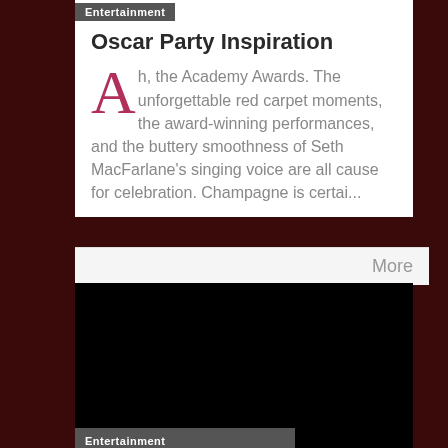Entertainment
Oscar Party Inspiration
Ah, the Academy Awards. The unforgettable red carpet moments, the award-winning performances, and the buttery smoothness of Seth MacFarlane's singing voice are all cause for celebration. Champagne is certai...
More
[Figure (photo): Black image area representing a video or photo placeholder]
Entertainment